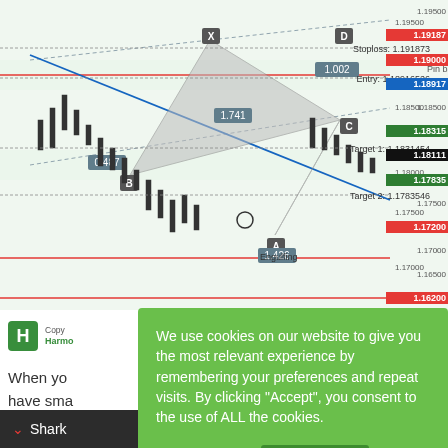[Figure (screenshot): Forex trading chart (EUR/USD or similar) showing harmonic pattern (Shark/Bat) with labeled points X, B, D, A, C and ratio labels 1.002, 0.487, 1.741, 1.426. Price annotations: Stoploss: 1.191873, Entry: 1.18916526, Target 1: 1.1831454, Target 2: 1.1783546. Price level labels on right: 1.19187 (red), 1.19000 (red), 1.18917 (blue), 1.18500, 1.18315 (green), 1.18111 (black), 1.17835 (green), 1.17500, 1.17200 (red), 1.17000, 1.16500, 1.16200 (red). Candlestick chart with trend lines and pattern overlay.]
[Figure (screenshot): Cookie consent overlay on green background. Text: 'We use cookies on our website to give you the most relevant experience by remembering your preferences and repeat visits. By clicking "Accept", you consent to the use of ALL the cookies.' Buttons: 'Cookie settings' (underlined) and 'ACCEPT' (dark green button).]
Copy Harmo
When yo have sma what is th area whe
Shark | Hide